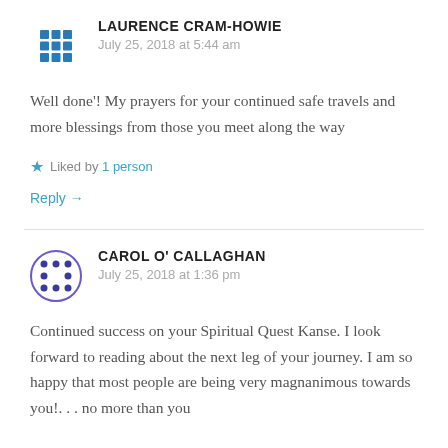LAURENCE CRAM-HOWIE
July 25, 2018 at 5:44 am
Well done'! My prayers for your continued safe travels and more blessings from those you meet along the way
★ Liked by 1 person
Reply →
CAROL O' CALLAGHAN
July 25, 2018 at 1:36 pm
Continued success on your Spiritual Quest Kanse. I look forward to reading about the next leg of your journey. I am so happy that most people are being very magnanimous towards you!. . . no more than you